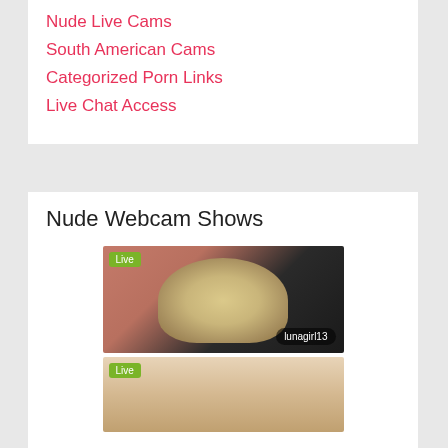Nude Live Cams
South American Cams
Categorized Porn Links
Live Chat Access
Nude Webcam Shows
[Figure (photo): Webcam thumbnail showing blonde hair close-up with 'Live' badge and username 'lunagirl13']
[Figure (photo): Webcam thumbnail showing woman's face with 'Live' badge]